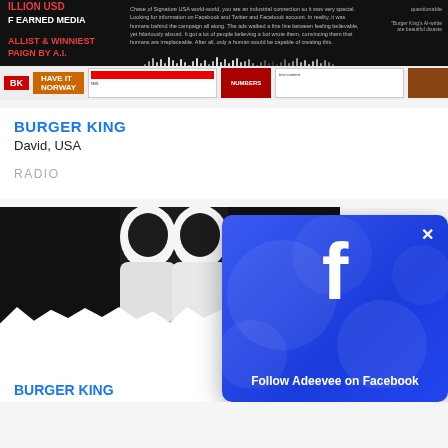[Figure (screenshot): Burger King AI campaign advertisement strip showing text about earned media, waveform, and social media cards at bottom]
BURGER KING
David, USA
RADIO
[Figure (photo): Black and white photo of two hooded figures facing each other with a Facebook follow popup overlay in the bottom right]
Follow Adeevee on Facebook
BURGER KING